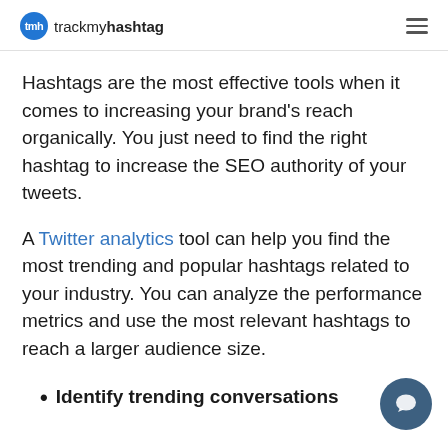tmh trackmyhashtag
Hashtags are the most effective tools when it comes to increasing your brand’s reach organically. You just need to find the right hashtag to increase the SEO authority of your tweets.
A Twitter analytics tool can help you find the most trending and popular hashtags related to your industry. You can analyze the performance metrics and use the most relevant hashtags to reach a larger audience size.
Identify trending conversations